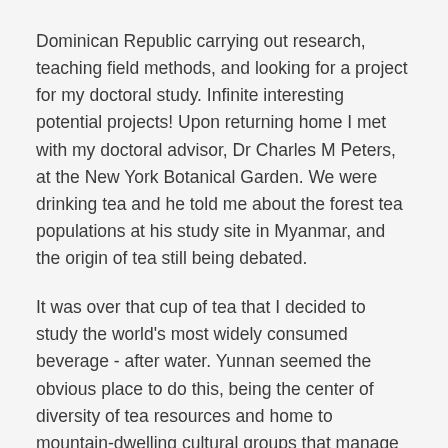Dominican Republic carrying out research, teaching field methods, and looking for a project for my doctoral study. Infinite interesting potential projects! Upon returning home I met with my doctoral advisor, Dr Charles M Peters, at the New York Botanical Garden. We were drinking tea and he told me about the forest tea populations at his study site in Myanmar, and the origin of tea still being debated.
It was over that cup of tea that I decided to study the world's most widely consumed beverage - after water. Yunnan seemed the obvious place to do this, being the center of diversity of tea resources and home to mountain-dwelling cultural groups that manage tea trees in agro-forests. I had no idea at that time how fascinating I would find this endeavor. I am continuously blown away by it all.